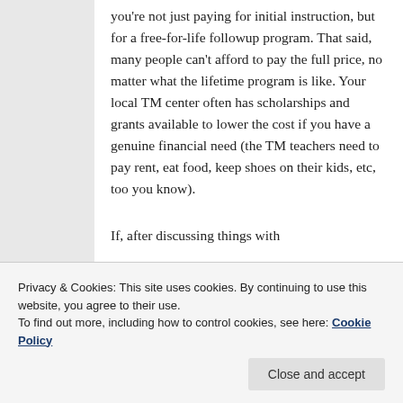you're not just paying for initial instruction, but for a free-for-life followup program. That said, many people can't afford to pay the full price, no matter what the lifetime program is like. Your local TM center often has scholarships and grants available to lower the cost if you have a genuine financial need (the TM teachers need to pay rent, eat food, keep shoes on their kids, etc, too you know).
If, after discussing things with
Privacy & Cookies: This site uses cookies. By continuing to use this website, you agree to their use.
To find out more, including how to control cookies, see here: Cookie Policy